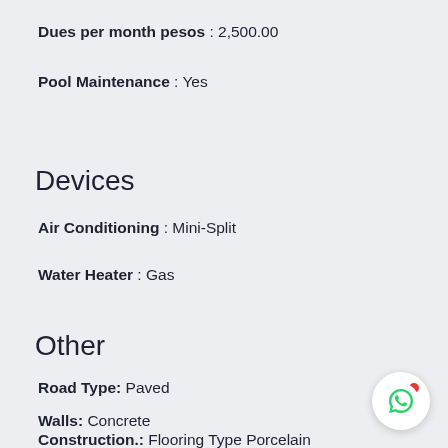Dues per month pesos : 2,500.00
Pool Maintenance : Yes
Devices
Air Conditioning : Mini-Split
Water Heater : Gas
Other
Road Type: Paved
Walls: Concrete
Construction.: Flooring Type Porcelain